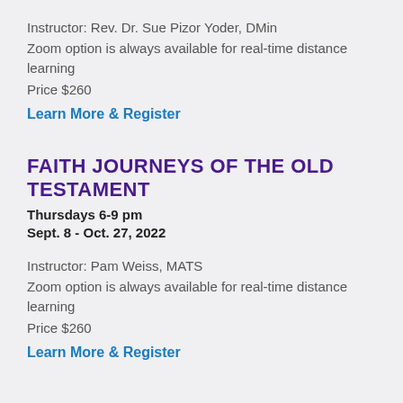Instructor: Rev. Dr. Sue Pizor Yoder, DMin
Zoom option is always available for real-time distance learning
Price $260
Learn More & Register
FAITH JOURNEYS OF THE OLD TESTAMENT
Thursdays 6-9 pm
Sept. 8 - Oct. 27, 2022
Instructor: Pam Weiss, MATS
Zoom option is always available for real-time distance learning
Price $260
Learn More & Register